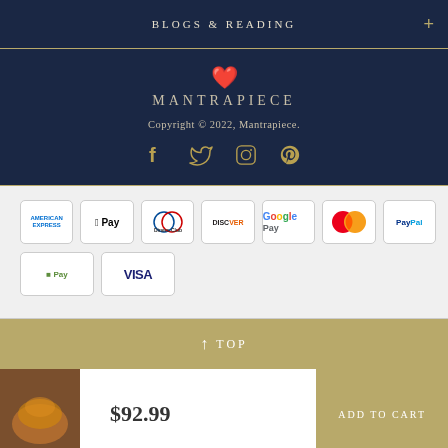BLOGS & READING
[Figure (logo): Mantrapiece logo with stylized heart symbol and text MANTRAPIECE]
Copyright © 2022, Mantrapiece.
[Figure (infographic): Social media icons: Facebook, Twitter, Instagram, Pinterest in gold color]
[Figure (infographic): Payment method badges: American Express, Apple Pay, Diners Club, Discover, Google Pay, Mastercard, PayPal, Shop Pay, Visa]
↑ TOP
$92.99
ADD TO CART